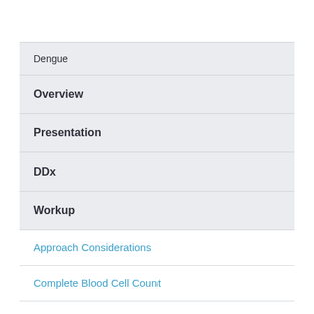Dengue
Overview
Presentation
DDx
Workup
Approach Considerations
Complete Blood Cell Count
Metabolic Panel and Liver Enzymes
Coagulation Studies